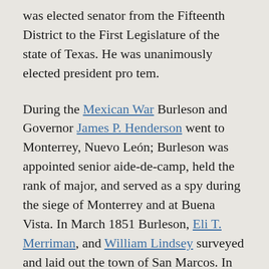was elected senator from the Fifteenth District to the First Legislature of the state of Texas. He was unanimously elected president pro tem.
During the Mexican War Burleson and Governor James P. Henderson went to Monterrey, Nuevo León; Burleson was appointed senior aide-de-camp, held the rank of major, and served as a spy during the siege of Monterrey and at Buena Vista. In March 1851 Burleson, Eli T. Merriman, and William Lindsey surveyed and laid out the town of San Marcos. In 1848 Burleson introduced a resolution to establish Hays County and donated the land for the courthouse. He chaired the Committee on Military Affairs, which awarded a $1,250,000 grant to Texas for Indian depredations.